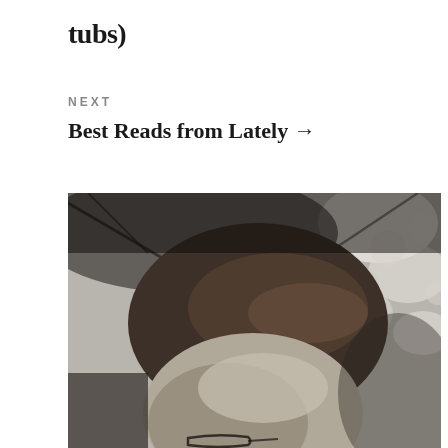tubs)
NEXT
Best Reads from Lately →
[Figure (photo): Black and white close-up photograph of a person with long hair and glasses, photographed from above/front angle against a blurred background with tree branches and leaves]